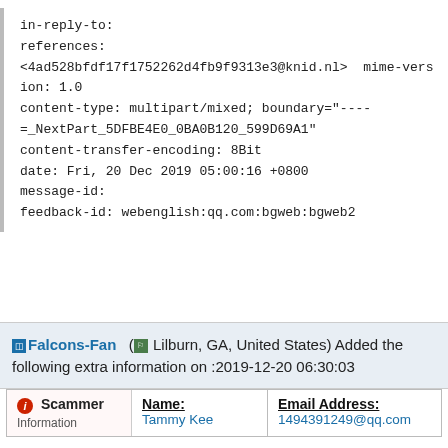in-reply-to:
references:
<4ad528bfdf17f1752262d4fb9f9313e3@knid.nl>  mime-version: 1.0
content-type: multipart/mixed; boundary="----=_NextPart_5DFBE4E0_0BA0B120_599D69A1"
content-transfer-encoding: 8Bit
date: Fri, 20 Dec 2019 05:00:16 +0800
message-id:
feedback-id: webenglish:qq.com:bgweb:bgweb2
Falcons-Fan  ( Lilburn, GA, United States) Added the following extra information on :2019-12-20 06:30:03
|  | Name: | Email Address: |
| --- | --- | --- |
| Scammer Information | Tammy Kee | 1494391249@qq.com |